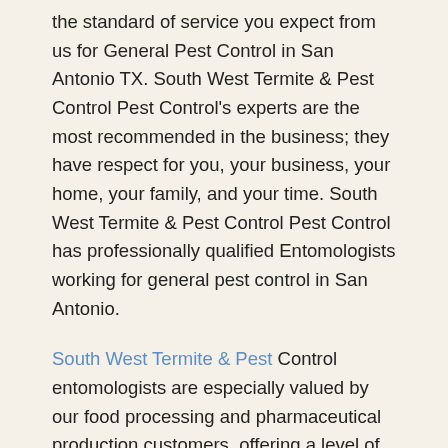the standard of service you expect from us for General Pest Control in San Antonio TX. South West Termite & Pest Control Pest Control's experts are the most recommended in the business; they have respect for you, your business, your home, your family, and your time. South West Termite & Pest Control Pest Control has professionally qualified Entomologists working for general pest control in San Antonio.
South West Termite & Pest Control entomologists are especially valued by our food processing and pharmaceutical production customers, offering a level of protection and serenity in these sensitive environments. There is nothing more important at South West Termite & Pest Control than making sure that everyone gets home safe at the end of their full day of work. Our colleagues, our families, and our customers rely on this liability. Health, safety, and the environment will always be our number 1 priority when we are providing General Pest Control in San